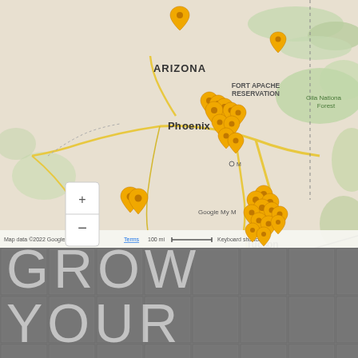[Figure (map): Google My Maps screenshot showing Arizona and surrounding region. Multiple orange map pins cluster around Phoenix and Tucson, Arizona. Labels visible include ARIZONA, FORT APACHE RESERVATION, Gila National Forest, Mexicali, BAJA CALIFORNIA, SONORA, Nogales, Ciudad (partially visible), Hermosillo. Map footer shows: Map data ©2022 Google, INEGI  Terms  100 mi scale bar  Keyboard shortcuts. Zoom controls (+/-) visible in lower left.]
GROW YOUR